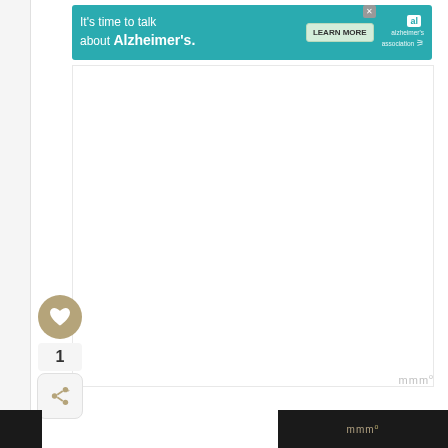[Figure (other): Alzheimer's Association advertisement banner: teal background with text 'It's time to talk about Alzheimer's.' and a 'LEARN MORE' button, plus the Alzheimer's Association logo with ribbon icon]
[Figure (other): Heart/like button (gold circle with white heart icon), count '1', and share button below it forming a social interaction sidebar]
1
[Figure (logo): Watermark logo 'mmm' with superscript degree symbol in gray]
[Figure (other): Bottom right dark bar with 'mmm' logo watermark in gold/tan color]